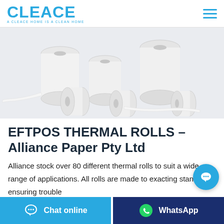[Figure (logo): CLEACE logo in blue with tagline 'A CLEACE HOME IS A CLEAN HOME']
[Figure (photo): Multiple white thermal paper rolls of various sizes on a light gray background]
EFTPOS THERMAL ROLLS – Alliance Paper Pty Ltd
Alliance stock over 80 different thermal rolls to suit a wide range of applications. All rolls are made to exacting standards ensuring trouble
Chat online
WhatsApp